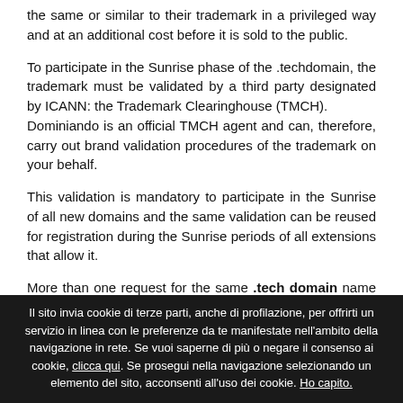the same or similar to their trademark in a privileged way and at an additional cost before it is sold to the public.
To participate in the Sunrise phase of the .techdomain, the trademark must be validated by a third party designated by ICANN: the Trademark Clearinghouse (TMCH). Dominiando is an official TMCH agent and can, therefore, carry out brand validation procedures of the trademark on your behalf.
This validation is mandatory to participate in the Sunrise of all new domains and the same validation can be reused for registration during the Sunrise periods of all extensions that allow it.
More than one request for the same .tech domain name will be settled by an auction between the contenders trademark
Il sito invia cookie di terze parti, anche di profilazione, per offrirti un servizio in linea con le preferenze da te manifestate nell'ambito della navigazione in rete. Se vuoi saperne di più o negare il consenso ai cookie, clicca qui. Se prosegui nella navigazione selezionando un elemento del sito, acconsenti all'uso dei cookie. Ho capito.